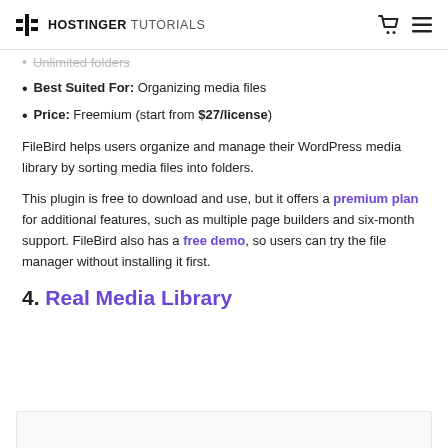HOSTINGER TUTORIALS
Unlimited folders (faded/partial)
Best Suited For: Organizing media files
Price: Freemium (start from $27/license)
FileBird helps users organize and manage their WordPress media library by sorting media files into folders.
This plugin is free to download and use, but it offers a premium plan for additional features, such as multiple page builders and six-month support. FileBird also has a free demo, so users can try the file manager without installing it first.
4. Real Media Library
[Figure (screenshot): Bottom portion of an image/content block cut off at the bottom of the page]